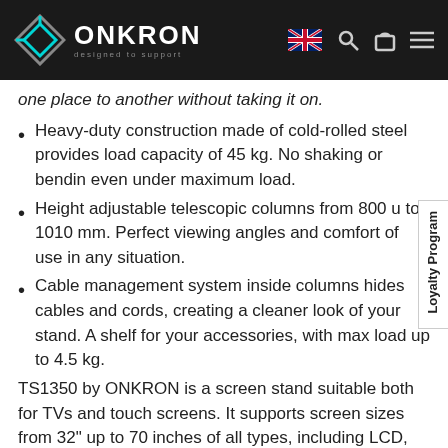ONKRON — designed to support
one place to another without taking it on.
Heavy-duty construction made of cold-rolled steel provides load capacity of 45 kg. No shaking or bending even under maximum load.
Height adjustable telescopic columns from 800 up to 1010 mm. Perfect viewing angles and comfort of use in any situation.
Cable management system inside columns hides cables and cords, creating a cleaner look of your stand. A shelf for your accessories, with max load up to 4.5 kg.
TS1350 by ONKRON is a screen stand suitable both for TVs and touch screens. It supports screen sizes from 32" up to 70 inches of all types, including LCD, LED, OLED TVs and touch screens. The mounting